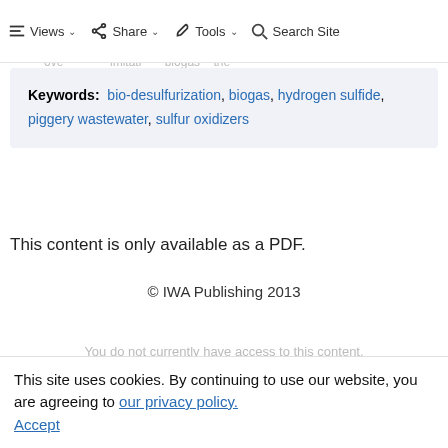Views | Share | Tools | Search Site
efficiency exceeded 93%. The proposed BBS overcame the limitations of biogas and the utilizing pig farm biogas for power generation and other applications.
Keywords: bio-desulfurization, biogas, hydrogen sulfide, piggery wastewater, sulfur oxidizers
This content is only available as a PDF.
© IWA Publishing 2013
You do not currently have access to this content.
This site uses cookies. By continuing to use our website, you are agreeing to our privacy policy. Accept